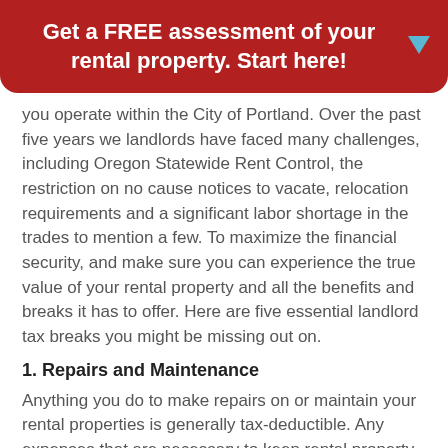Get a FREE assessment of your rental property. Start here!
you operate within the City of Portland. Over the past five years we landlords have faced many challenges, including Oregon Statewide Rent Control, the restriction on no cause notices to vacate, relocation requirements and a significant labor shortage in the trades to mention a few. To maximize the financial security, and make sure you can experience the true value of your rental property and all the benefits and breaks it has to offer. Here are five essential landlord tax breaks you might be missing out on.
1. Repairs and Maintenance
Anything you do to make repairs on or maintain your rental properties is generally tax-deductible. Any expenses that are necessary to keep rental property in good condition qualify, as long as the expenses are to keep the property livable, not